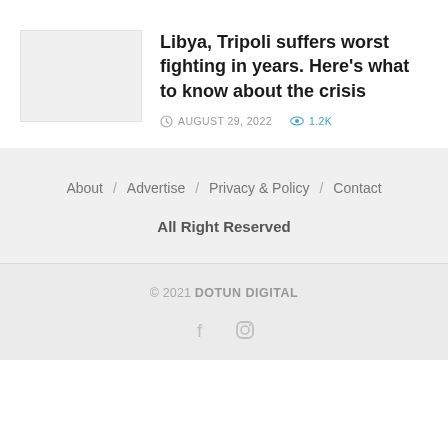[Figure (photo): Thumbnail image placeholder for article]
Libya, Tripoli suffers worst fighting in years. Here's what to know about the crisis
AUGUST 29, 2022   1.2K
About / Advertise / Privacy & Policy / Contact
All Right Reserved
© 2021 DOTUN DIGITAL